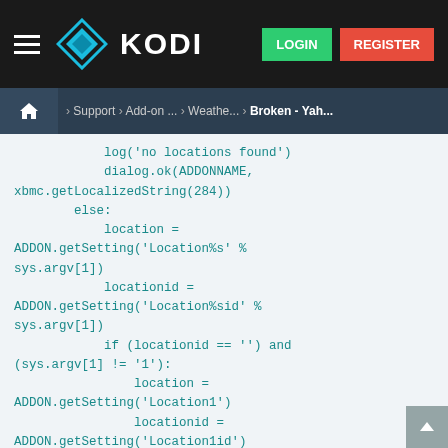KODI — LOGIN | REGISTER
Home > Support > Add-on ... > Weathe... > Broken - Yah...
[Figure (screenshot): Code snippet from a Kodi add-on Python file showing location settings logic]
log('no locations found')
            dialog.ok(ADDONNAME,
xbmc.getLocalizedString(284))
        else:
            location =
ADDON.getSetting('Location%s' %
sys.argv[1])
            locationid =
ADDON.getSetting('Location%sid' %
sys.argv[1])
            if (locationid == '') and
(sys.argv[1] != '1'):
                location =
ADDON.getSetting('Location1')
                locationid =
ADDON.getSetting('Location1id')
                log('trying location 1
instead')
            if not locationid == '':
                forecast(location, locationid)